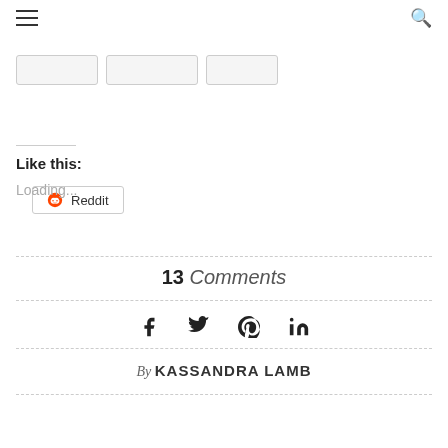≡  🔍
[Figure (other): Three placeholder share buttons (rounded rectangle outlines)]
Reddit
Like this:
Loading...
13 Comments
[Figure (other): Social share icons: Facebook, Twitter, Pinterest, LinkedIn]
By KASSANDRA LAMB